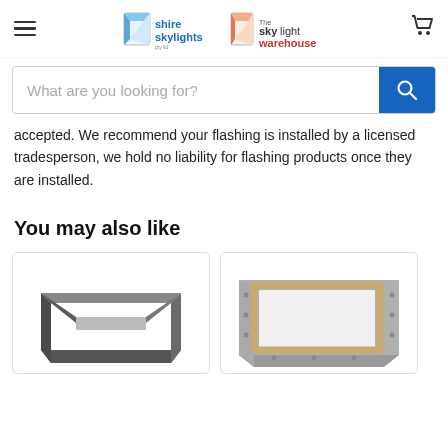Shire Skylights | The Skylight Warehouse
accepted. We recommend your flashing is installed by a licensed tradesperson, we hold no liability for flashing products once they are installed.
You may also like
[Figure (photo): Product photo: dark grey angular skylight flashing/curb unit viewed from above at angle]
[Figure (photo): Product photo: light grey rectangular skylight frame/flashing with wooden inner frame, viewed from above at angle]